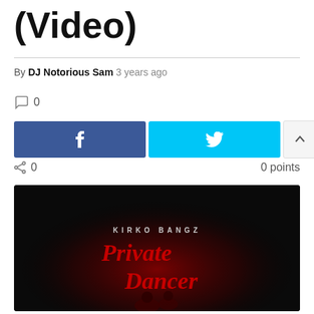(Video)
By DJ Notorious Sam  3 years ago
0 comments
[Figure (screenshot): Social share buttons: Facebook (blue), Twitter (cyan), and up/down vote buttons]
0  0 points
[Figure (photo): Kirko Bangz Private Dancer music video thumbnail - dark background with red neon script text reading 'Private Dancer' and silhouettes of dancers in red light]